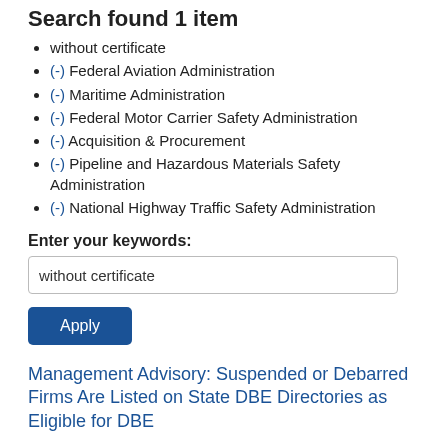Search found 1 item
without certificate
(-) Federal Aviation Administration
(-) Maritime Administration
(-) Federal Motor Carrier Safety Administration
(-) Acquisition & Procurement
(-) Pipeline and Hazardous Materials Safety Administration
(-) National Highway Traffic Safety Administration
Enter your keywords:
without certificate
Apply
Management Advisory: Suspended or Debarred Firms Are Listed on State DBE Directories as Eligible for DBE